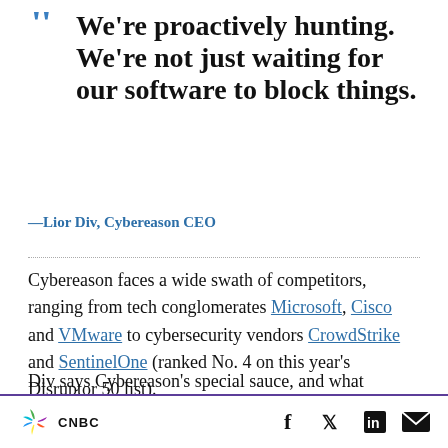We're proactively hunting. We're not just waiting for our software to block things.
—Lior Div, Cybereason CEO
Cybereason faces a wide swath of competitors, ranging from tech conglomerates Microsoft, Cisco and VMware to cybersecurity vendors CrowdStrike and SentinelOne (ranked No. 4 on this year's Disruptor 50 list).
Div says Cybereason's special sauce, and what allowed it to recognize and stop DarkSide before
CNBC | social icons: Facebook, Twitter, LinkedIn, Email